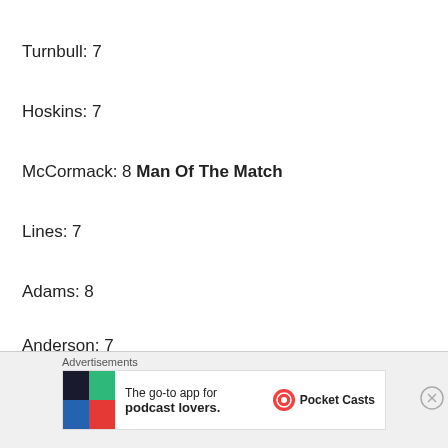Turnbull: 7
Hoskins: 7
McCormack: 8 Man Of The Match
Lines: 7
Adams: 8
Anderson: 7
Williams: 7
Advertisements
[Figure (other): Pocket Casts app advertisement banner: 'The go-to app for podcast lovers.' with Pocket Casts logo]